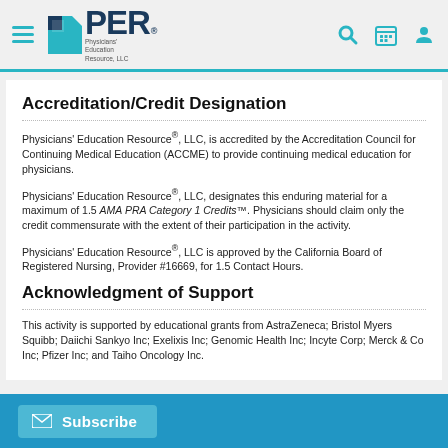PER — Physicians' Education Resource, LLC
Accreditation/Credit Designation
Physicians' Education Resource®, LLC, is accredited by the Accreditation Council for Continuing Medical Education (ACCME) to provide continuing medical education for physicians.
Physicians' Education Resource®, LLC, designates this enduring material for a maximum of 1.5 AMA PRA Category 1 Credits™. Physicians should claim only the credit commensurate with the extent of their participation in the activity.
Physicians' Education Resource®, LLC is approved by the California Board of Registered Nursing, Provider #16669, for 1.5 Contact Hours.
Acknowledgment of Support
This activity is supported by educational grants from AstraZeneca; Bristol Myers Squibb; Daiichi Sankyo Inc; Exelixis Inc; Genomic Health Inc; Incyte Corp; Merck & Co Inc; Pfizer Inc; and Taiho Oncology Inc.
Subscribe